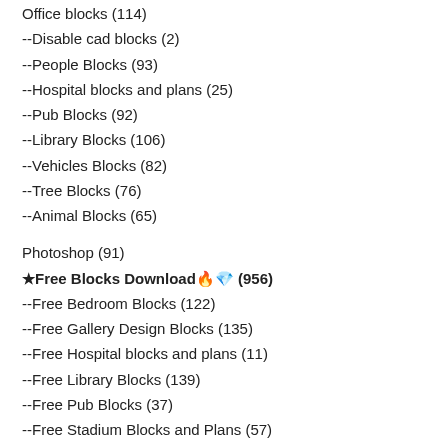Office blocks (114)
--Disable cad blocks (2)
--People Blocks (93)
--Hospital blocks and plans (25)
--Pub Blocks (92)
--Library Blocks (106)
--Vehicles Blocks (82)
--Tree Blocks (76)
--Animal Blocks (65)
Photoshop (91)
★Free Blocks Download🔥💎 (956)
--Free Bedroom Blocks (122)
--Free Gallery Design Blocks (135)
--Free Hospital blocks and plans (11)
--Free Library Blocks (139)
--Free Pub Blocks (37)
--Free Stadium Blocks and Plans (57)
--Free Appliances blocks (148)
--Free Classical Decoration Elements (95)
--Free Equipment blocks (149)